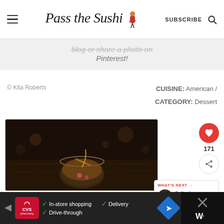Pass the Sushi — SUBSCRIBE (search icon)
blog or share a photo on Pinterest!
© Kita Roberts
CUISINE: American / CATEGORY: Dessert
[Figure (photo): Dark moody food photo of a cocktail drink in a glass with candy toppings, honey or caramel drizzle, on a wooden surface]
171
WHAT'S NEXT → Salted Caramel...
In-store shopping  Drive-through  Delivery (CVS Pharmacy ad)